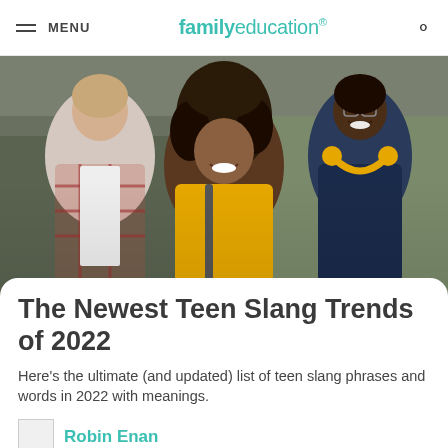MENU | familyeducation
[Figure (photo): Three laughing teenagers walking together with arms around each other. Left teen wears a plaid shirt, center teen has curly hair and a yellow top, right teen wears a navy hoodie and has yellow headphones around their neck.]
The Newest Teen Slang Trends of 2022
Here's the ultimate (and updated) list of teen slang phrases and words in 2022 with meanings.
Robin Enan